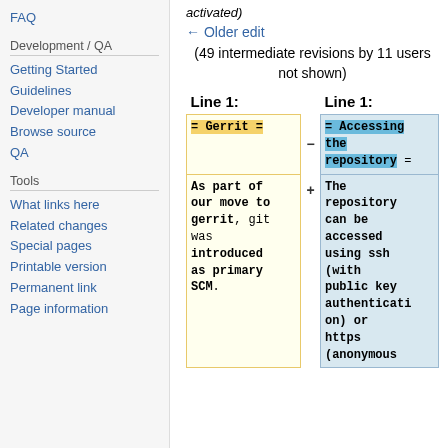FAQ
Development / QA
Getting Started
Guidelines
Developer manual
Browse source
QA
Tools
What links here
Related changes
Special pages
Printable version
Permanent link
Page information
activated)
← Older edit
(49 intermediate revisions by 11 users not shown)
| Line 1: |  | Line 1: |
| --- | --- | --- |
| = Gerrit = | -/+ | = Accessing the repository = |
| As part of our move to gerrit, git was introduced as primary SCM. |  | The repository can be accessed using ssh (with public key authentication) or https (anonymous |